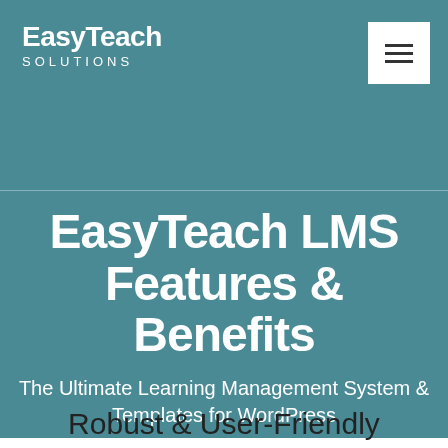EasyTeach SOLUTIONS
EasyTeach LMS Features & Benefits
The Ultimate Learning Management System & Templates for WordPress
Robust & User-Friendly Solutions